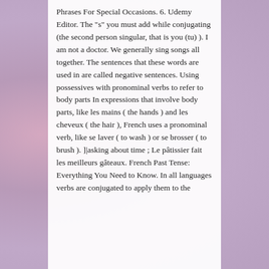Phrases For Special Occasions. 6. Udemy Editor. The "s" you must add while conjugating (the second person singular, that is you (tu) ). I am not a doctor. We generally sing songs all together. The sentences that these words are used in are called negative sentences. Using possessives with pronominal verbs to refer to body parts In expressions that involve body parts, like les mains ( the hands ) and les cheveux ( the hair ), French uses a pronominal verb, like se laver ( to wash ) or se brosser ( to brush ). ]|asking about time ; Le pâtissier fait les meilleurs gâteaux. French Past Tense: Everything You Need to Know. In all languages verbs are conjugated to apply them to the